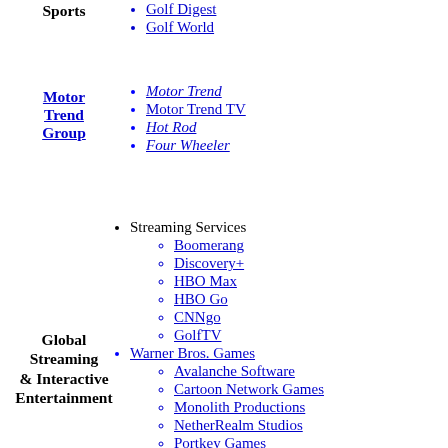Sports
Golf Digest
Golf World
Motor Trend Group
Motor Trend
Motor Trend TV
Hot Rod
Four Wheeler
Global Streaming & Interactive Entertainment
Streaming Services
Boomerang
Discovery+
HBO Max
HBO Go
CNNgo
GolfTV
Warner Bros. Games
Avalanche Software
Cartoon Network Games
Monolith Productions
NetherRealm Studios
Portkey Games
Rocksteady Studios
TT Games
Traveller's Tales
WB Games Boston
WB Games Montréal